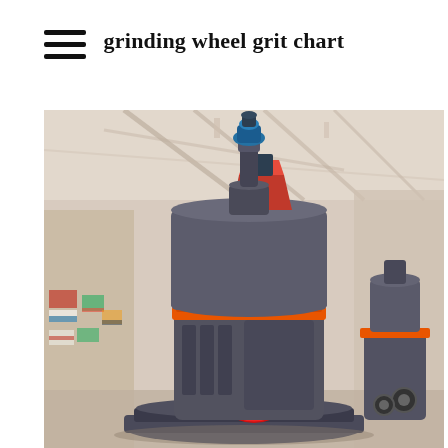grinding wheel grit chart
[Figure (photo): Industrial grinding mill machine photographed in a factory/warehouse setting. The machine is a large, multi-stage cylindrical grinding mill with gray body, orange accent ring, red hopper/chute at top, blue connector fitting at the top, and a red-square warning sign at the base. A second smaller similar machine is visible on the right. International flags are visible in the blurred background on the left, and the ceiling structure of a large industrial hall is visible behind the machine.]